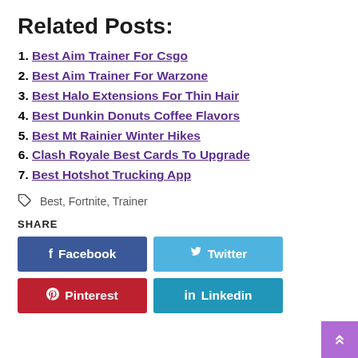Related Posts:
Best Aim Trainer For Csgo
Best Aim Trainer For Warzone
Best Halo Extensions For Thin Hair
Best Dunkin Donuts Coffee Flavors
Best Mt Rainier Winter Hikes
Clash Royale Best Cards To Upgrade
Best Hotshot Trucking App
Best, Fortnite, Trainer
SHARE
Facebook  Twitter  Pinterest  Linkedin